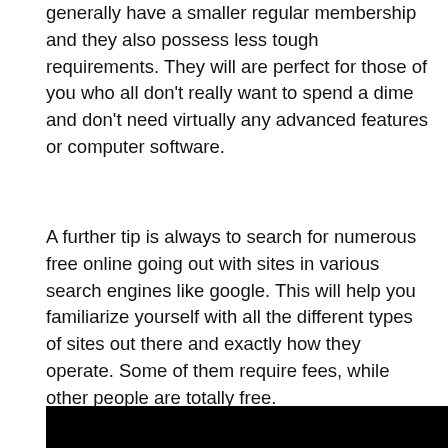generally have a smaller regular membership and they also possess less tough requirements. They will are perfect for those of you who all don't really want to spend a dime and don't need virtually any advanced features or computer software.
A further tip is always to search for numerous free online going out with sites in various search engines like google. This will help you familiarize yourself with all the different types of sites out there and exactly how they operate. Some of them require fees, while other people are totally free.
[Figure (photo): A black rectangular bar at the bottom of the page.]